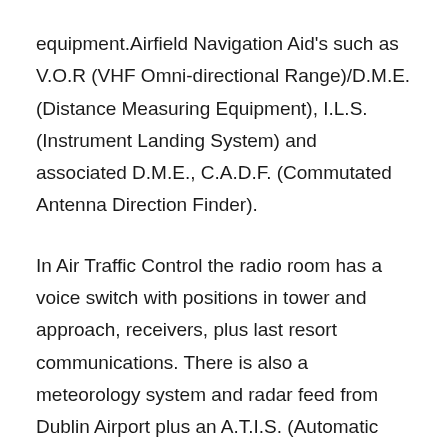equipment.Airfield Navigation Aid's such as V.O.R (VHF Omni-directional Range)/D.M.E. (Distance Measuring Equipment), I.L.S. (Instrument Landing System) and associated D.M.E., C.A.D.F. (Commutated Antenna Direction Finder).
In Air Traffic Control the radio room has a voice switch with positions in tower and approach, receivers, plus last resort communications. There is also a meteorology system and radar feed from Dublin Airport plus an A.T.I.S. (Automatic Terminal Information Service) and met camera system.
The Communications Centre has military radio